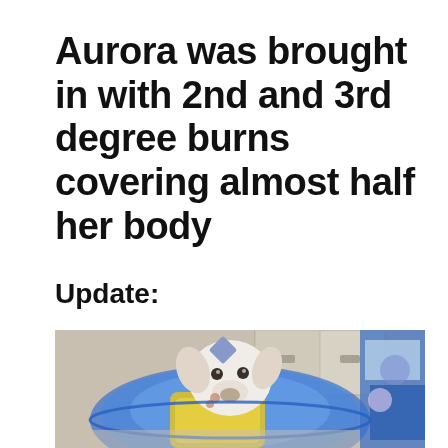Aurora was brought in with 2nd and 3rd degree burns covering almost half her body
Update:
[Figure (photo): A white puppy wearing a blue veterinary cone collar and a yellow bandage/wrap, sitting in what appears to be a veterinary clinic. The puppy has visible injury marks on its face. Colorful fabric is visible on the right side of the image.]